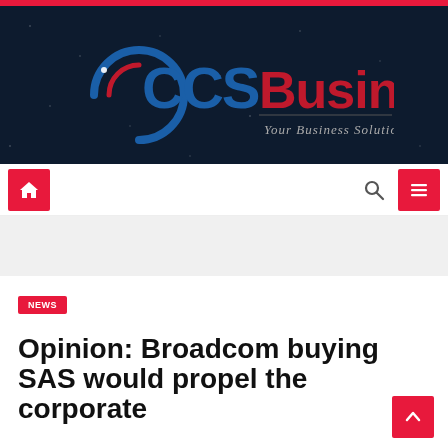[Figure (logo): CCS Business logo — stylized blue 'CCS' with crescent arc icon, bold red 'Business' text, and italic serif tagline 'Your Business Solution', on dark navy starfield background]
[Figure (other): Navigation bar with pink/red home icon button on left, search icon and pink/red hamburger menu button on right]
NEWS
Opinion: Broadcom buying SAS would propel the corporate